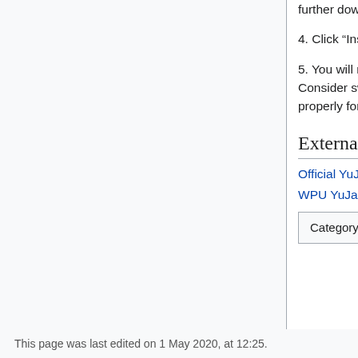further down and select the video from the list.
4. Click “Insert Videos” at the bottom right-hand corner.
5. You will now see your video embedded at the bottom of your content area. Consider switching to student preview mode to confirm that the video will play back properly for your students.
External links
Official YuJa website ⧉
WPU YuJa zone ⧉
Category:  Streaming Media
This page was last edited on 1 May 2020, at 12:25.